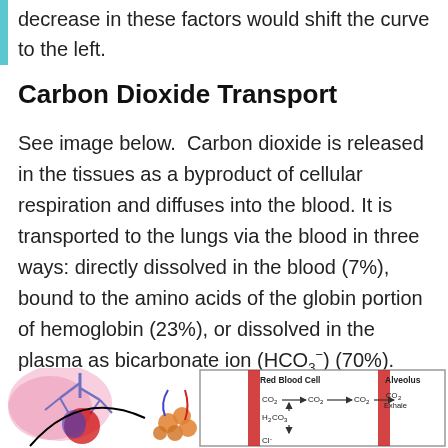decrease in these factors would shift the curve to the left.
Carbon Dioxide Transport
See image below.  Carbon dioxide is released in the tissues as a byproduct of cellular respiration and diffuses into the blood. It is transported to the lungs via the blood in three ways: directly dissolved in the blood (7%), bound to the amino acids of the globin portion of hemoglobin (23%), or dissolved in the plasma as bicarbonate ion (HCO3−) (70%).
[Figure (illustration): Diagram showing carbon dioxide transport: a lung illustration on the left, and a zoomed-in diagram on the right showing Red Blood Cell and Alveolus with CO2 transport pathway including H2CO3, arrows showing CO2 movement, and labels for CO2 Exhale.]